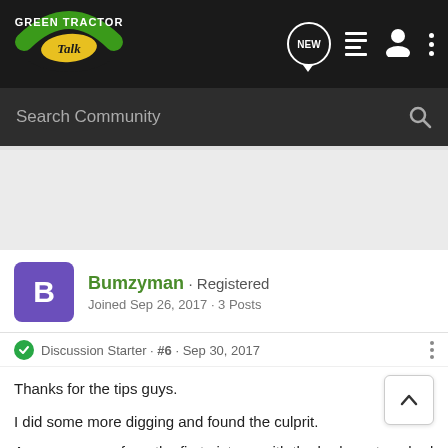Green Tractor Talk - Navigation bar with logo, NEW, list, person, and more icons
Search Community
Bumzyman · Registered
Joined Sep 26, 2017 · 3 Posts
Discussion Starter · #6 · Sep 30, 2017
Thanks for the tips guys.

I did some more digging and found the culprit.
As you can see from the first picture: with the brake not pushed in there
While tr
[Figure (screenshot): GroundOS advertisement banner: The nation's top land brokers run on GroundOS. REQUEST A DEMO]